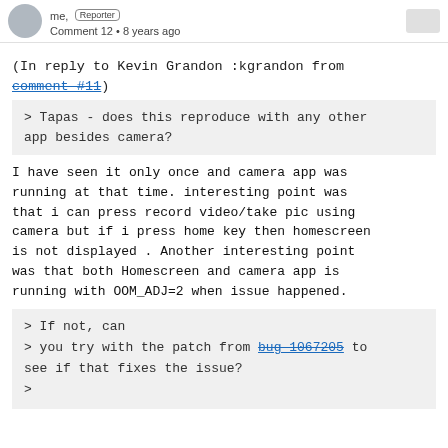me, Reporter — Comment 12 • 8 years ago
(In reply to Kevin Grandon :kgrandon from comment #11)
> Tapas - does this reproduce with any other app besides camera?
I have seen it only once and camera app was running at that time. interesting point was that i can press record video/take pic using camera but if i press home key then homescreen is not displayed . Another interesting point was that both Homescreen and camera app is running with OOM_ADJ=2 when issue happened.
> If not, can
> you try with the patch from bug 1067205 to see if that fixes the issue?
>